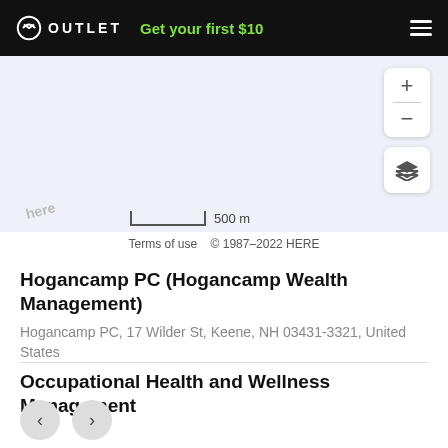OUTLET  Get your first $10
[Figure (map): Street map showing area near Keene, NH with zoom controls (+/-), a layer toggle button, a 500m scale bar, HERE watermark, and terms of use attribution. Map background is light blue-grey.]
Terms of use  © 1987–2022 HERE
Hogancamp PC (Hogancamp Wealth Management)
Hogancamp PC, 17 Wilder St, Keene, NH 03431-3321, United States
Occupational Health and Wellness Management
Occupational Health and Wellness Management, 85 Emerald St, Keene, NH 03431-3626, United States